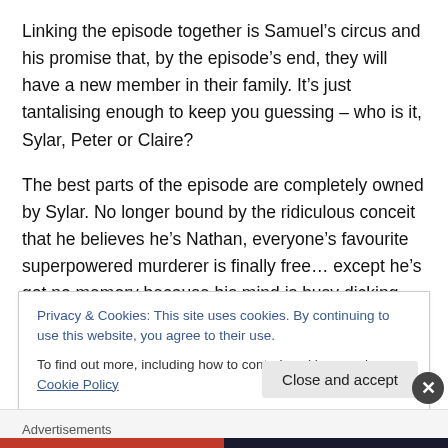Linking the episode together is Samuel's circus and his promise that, by the episode's end, they will have a new member in their family. It's just tantalising enough to keep you guessing – who is it, Sylar, Peter or Claire?
The best parts of the episode are completely owned by Sylar. No longer bound by the ridiculous conceit that he believes he's Nathan, everyone's favourite superpowered murderer is finally free… except he's got no memory because his mind is busy dicking about with Matt Parkman. Zachary Quinto steals the show here with a
Privacy & Cookies: This site uses cookies. By continuing to use this website, you agree to their use.
To find out more, including how to control cookies, see here: Cookie Policy
Close and accept
Advertisements